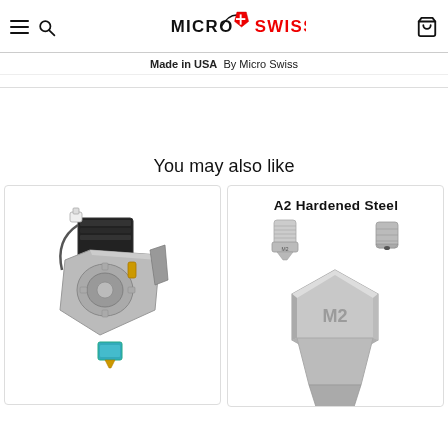Micro Swiss — Made in USA  By Micro Swiss
You may also like
[Figure (photo): 3D printer extruder assembly product photo]
[Figure (photo): A2 Hardened Steel nozzles product photo with label 'A2 Hardened Steel']